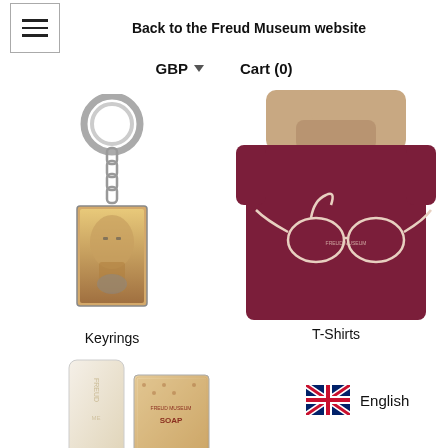Back to the Freud Museum website
GBP  Cart (0)
[Figure (photo): A keyring with a rectangular pendant showing a portrait of Sigmund Freud]
Keyrings
[Figure (photo): A man wearing a dark red/maroon t-shirt with a glasses design on the front]
T-Shirts
[Figure (photo): Freud Museum soap products - a cylindrical cream bar and a decorated box]
English